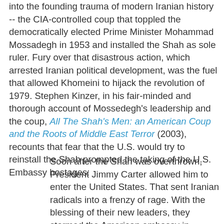into the founding trauma of modern Iranian history -- the CIA-controlled coup that toppled the democratically elected Prime Minister Mohammad Mossadegh in 1953 and installed the Shah as sole ruler. Fury over that disastrous action, which arrested Iranian political development, was the fuel that allowed Khomeini to hijack the revolution of 1979. Stephen Kinzer, in his fair-minded and thorough account of Mossedegh's leadership and the coup, All The Shah's Men: an American Coup and the Roots of Middle East Terror (2003), recounts that fear that the U.S. would try to reinstall the Shah prompted the taking of the U.S. Embassy hostages:
Soon after the Shah was overthrown, President Jimmy Carter allowed him to enter the United States. That sent Iranian radicals into a frenzy of rage. With the blessing of their new leaders, they stormed the American embassy in Tehran and held fifty-two American diplomats hostage for more than fourteen months. Westerners, and especially Americans, found this crime not only barbaric but inexplicable. That was because almost none of them had any idea of the